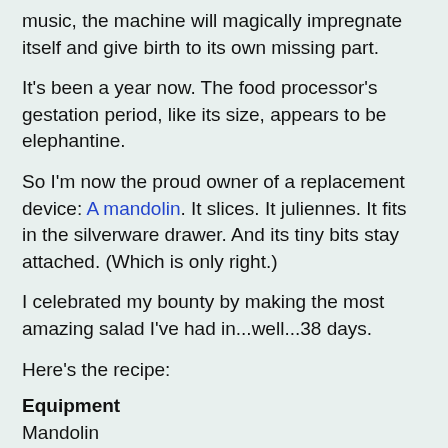music, the machine will magically impregnate itself and give birth to its own missing part.
It's been a year now. The food processor's gestation period, like its size, appears to be elephantine.
So I'm now the proud owner of a replacement device: A mandolin. It slices. It juliennes. It fits in the silverware drawer. And its tiny bits stay attached. (Which is only right.)
I celebrated my bounty by making the most amazing salad I've had in...well...38 days.
Here's the recipe:
Equipment
Mandolin
Ingredients
2 small ripe tomatoes
Jicama, partially peeled
2 basil leaves, chopped